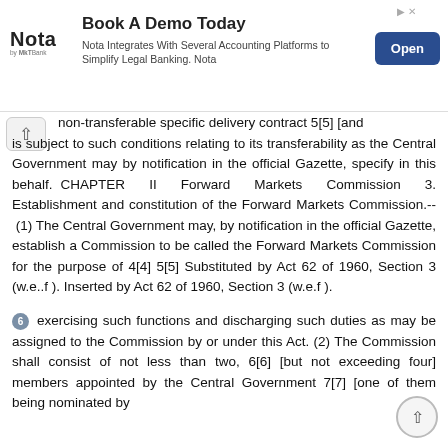[Figure (other): Advertisement banner: Nota logo, 'Book A Demo Today' headline, 'Nota Integrates With Several Accounting Platforms to Simplify Legal Banking. Nota' body text, and an 'Open' button.]
non-transferable specific delivery contract 5[5] [and is subject to such conditions relating to its transferability as the Central Government may by notification in the official Gazette, specify in this behalf. CHAPTER II Forward Markets Commission 3. Establishment and constitution of the Forward Markets Commission.-- (1) The Central Government may, by notification in the official Gazette, establish a Commission to be called the Forward Markets Commission for the purpose of 4[4] 5[5] Substituted by Act 62 of 1960, Section 3 (w.e..f ). Inserted by Act 62 of 1960, Section 3 (w.e.f ).
6 exercising such functions and discharging such duties as may be assigned to the Commission by or under this Act. (2) The Commission shall consist of not less than two, 6[6] [but not exceeding four] members appointed by the Central Government 7[7] [one of them being nominated by